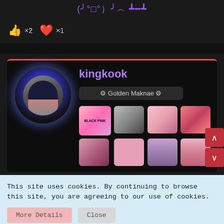(╯°□°）╯︵ ┻━┻
👍 ×2 ❤️ ×1
[Figure (screenshot): User profile card for 'kingkook' with role 'Golden Maknae', avatar of a woman with dark hair in a glowing blue circle, and a grid of 8 K-pop (BLACKPINK) themed images]
This site uses cookies. By continuing to browse this site, you are agreeing to our use of cookies.
More Details   Close